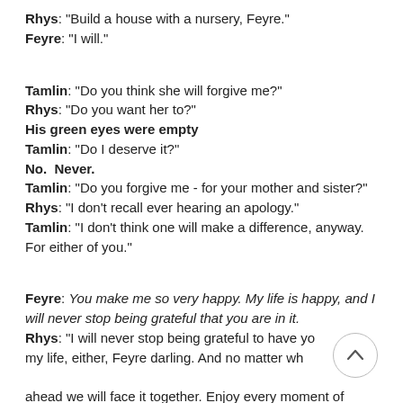Rhys: "Build a house with a nursery, Feyre."
Feyre: "I will."
Tamlin: "Do you think she will forgive me?"
Rhys: "Do you want her to?"
His green eyes were empty
Tamlin: "Do I deserve it?"
No. Never.
Tamlin: "Do you forgive me - for your mother and sister?"
Rhys: "I don't recall ever hearing an apology."
Tamlin: "I don't think one will make a difference, anyway. For either of you."
Feyre: You make me so very happy. My life is happy, and I will never stop being grateful that you are in it.
Rhys: "I will never stop being grateful to have you in my life, either, Feyre darling. And no matter what lies ahead we will face it together. Enjoy every moment of